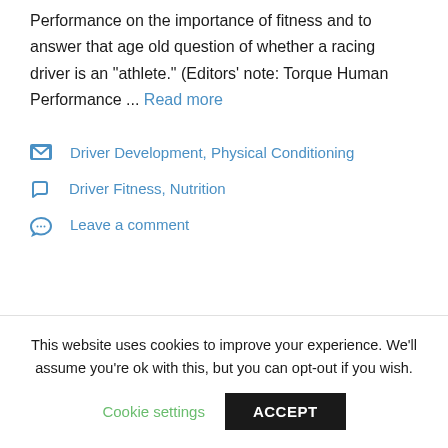Performance on the importance of fitness and to answer that age old question of whether a racing driver is an "athlete." (Editors' note: Torque Human Performance ... Read more
Driver Development, Physical Conditioning
Driver Fitness, Nutrition
Leave a comment
This website uses cookies to improve your experience. We'll assume you're ok with this, but you can opt-out if you wish.